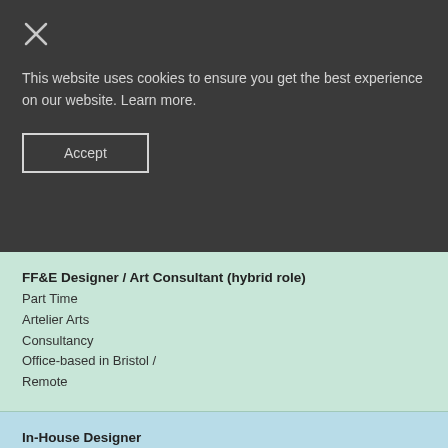[Figure (other): Close (X) button icon in white on dark background]
This website uses cookies to ensure you get the best experience on our website. Learn more.
Accept
FF&E Designer / Art Consultant (hybrid role)
Part Time
Artelier Arts Consultancy
Office-based in Bristol /
Remote
In-House Designer
Full Time